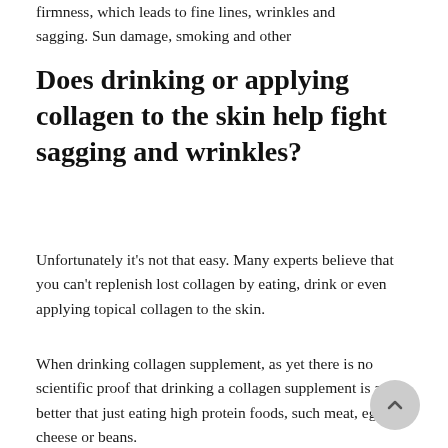firmness, which leads to fine lines, wrinkles and sagging. Sun damage, smoking and other
Does drinking or applying collagen to the skin help fight sagging and wrinkles?
Unfortunately it's not that easy. Many experts believe that you can't replenish lost collagen by eating, drink or even applying topical collagen to the skin.
When drinking collagen supplement, as yet there is no scientific proof that drinking a collagen supplement is any better that just eating high protein foods, such meat, eggs, cheese or beans.